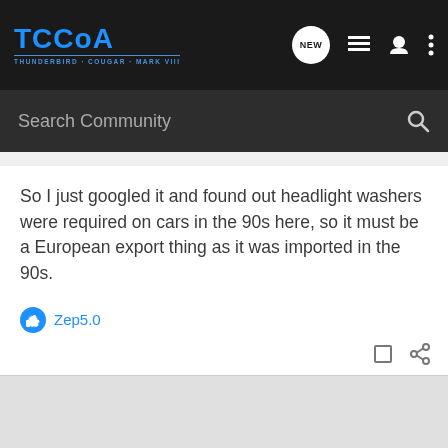TCCoA — THUNDERBIRD · COUGAR · MARK VIII — Navigation bar with NEW, list, user, and menu icons
Search Community
So I just googled it and found out headlight washers were required on cars in the 90s here, so it must be a European export thing as it was imported in the 90s.
Zep5.0
Trunk Monkey · Administrator 🇺🇸
Joined Feb 3, 2006 · 14,607 Posts